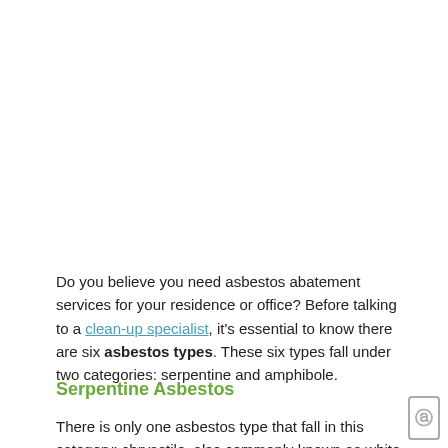Do you believe you need asbestos abatement services for your residence or office? Before talking to a clean-up specialist, it's essential to know there are six asbestos types. These six types fall under two categories: serpentine and amphibole.
Serpentine Asbestos
There is only one asbestos type that fall in this category: chrysotile, also commonly known as white